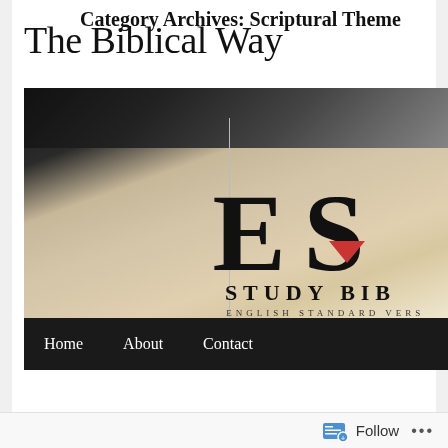The Biblical Way
[Figure (photo): Close-up photo of an ESV Study Bible (English Standard Version) cover, showing the large letters 'E S' and a red downward-pointing triangle logo, with 'STUDY BIBLE' and 'ENGLISH STANDARD VERSION' text visible. A navigation bar below shows Home, About, Contact links on a dark background.]
Category Archives: Scriptural Theme